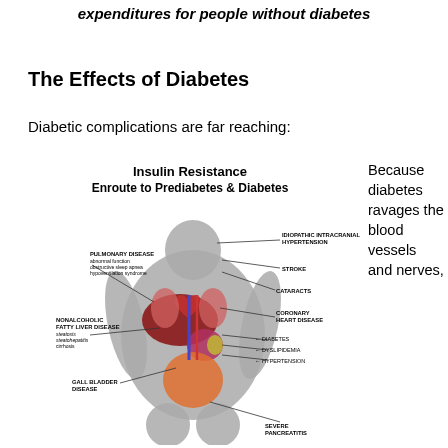expenditures for people without diabetes
The Effects of Diabetes
Diabetic complications are far reaching:
[Figure (illustration): Medical illustration titled 'Insulin Resistance Enroute to Prediabetes & Diabetes' showing a silhouette of an obese human body with labeled internal organs and associated diseases including: Pulmonary Disease (abnormal function, obstructive sleep apnea, hypoventilation syndrome), Nonalcoholic Fatty Liver Disease (steatosis, steatohepatitis, cirrhosis), Gall Bladder Disease, Idiopathic Intracranial Hypertension, Stroke, Cataracts, Coronary Heart Disease, Diabetes, Dyslipidemia, Hypertension, Severe Pancreatitis.]
Because diabetes ravages the blood vessels and nerves,